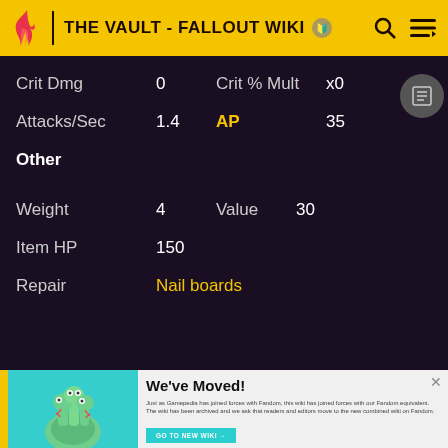THE VAULT - FALLOUT WIKI
| Crit Dmg | 0 | Crit % Mult | x0 |
| Attacks/Sec | 1.4 | AP | 35 |
| Other |  |  |  |
| Weight | 4 | Value | 30 |
| Item HP | 150 |  |  |
| Repair | Nail boards |  |  |
[Figure (illustration): Three-headed snake/hydra creature illustration on teal background]
We've Moved! Just as Gamepedia has joined forces with Fandom, this wiki has joined forces with our Fandom equivalent. The wiki has been archived and we ask that readers and editors move to the new combined wiki on Fandom.